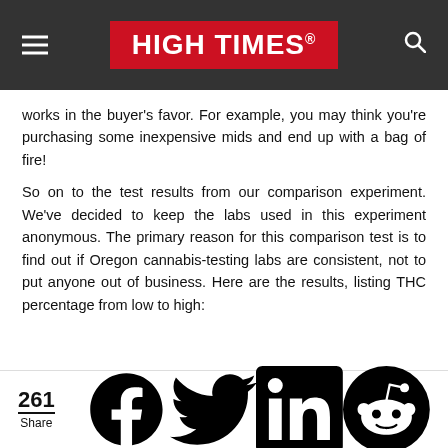HIGH TIMES
works in the buyer's favor. For example, you may think you're purchasing some inexpensive mids and end up with a bag of fire!
So on to the test results from our comparison experiment. We've decided to keep the labs used in this experiment anonymous. The primary reason for this comparison test is to find out if Oregon cannabis-testing labs are consistent, not to put anyone out of business. Here are the results, listing THC percentage from low to high:
261 Share